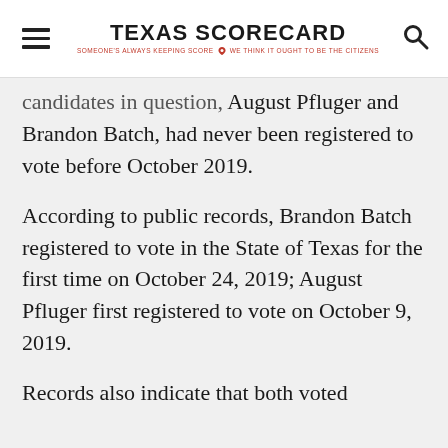TEXAS SCORECARD — SOMEONE'S ALWAYS KEEPING SCORE. WE THINK IT OUGHT TO BE THE CITIZENS.
candidates in question, August Pfluger and Brandon Batch, had never been registered to vote before October 2019.
According to public records, Brandon Batch registered to vote in the State of Texas for the first time on October 24, 2019; August Pfluger first registered to vote on October 9, 2019.
Records also indicate that both voted